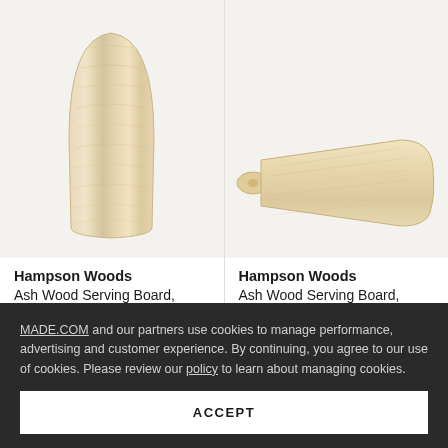[Figure (photo): Ash wood serving board, medium size, rounded arch shape, viewed from above, light natural wood grain, on pale beige background]
[Figure (photo): Ash wood serving board, large size, with handle and hole, diagonal perspective, light natural wood, on white/pale background]
Hampson Woods
Ash Wood Serving Board, Medium
£ 35  £ 45
Hampson Woods
Ash Wood Serving Board, Large
£ 50  £ 65
MADE.COM and our partners use cookies to manage performance, advertising and customer experience. By continuing, you agree to our use of cookies. Please review our policy to learn about managing cookies.
ACCEPT